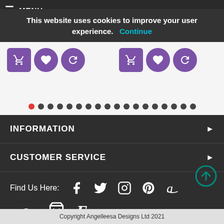[Figure (screenshot): Website screenshot showing cookie consent banner, product listings with purple cart/wishlist/refresh buttons, pagination dots, footer sections for INFORMATION and CUSTOMER SERVICE, social media icons, payment method icons, and copyright bar.]
This website uses cookies to improve your user experience.  Continue
Blue Sparkling Faceted  £1.00
Blue Sparkling Faceted  £1.00
INFORMATION
CUSTOMER SERVICE
Find Us Here:
Copyright Angelleesa Designs Ltd 2021